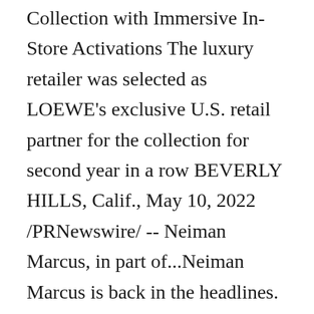Collection with Immersive In-Store Activations The luxury retailer was selected as LOEWE's exclusive U.S. retail partner for the collection for second year in a row BEVERLY HILLS, Calif., May 10, 2022 /PRNewswire/ -- Neiman Marcus, in part of...Neiman Marcus is back in the headlines. In a court filing on Friday, the department store added a fifth location to its brick-and-mortar closures as part of its Chapter 11 reorganization. Its ...Neiman,